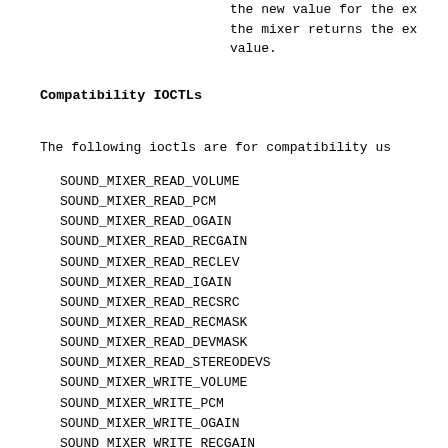the new value for the ex the mixer returns the ex value.
Compatibility IOCTLs
The following ioctls are for compatibility us
SOUND_MIXER_READ_VOLUME
SOUND_MIXER_READ_PCM
SOUND_MIXER_READ_OGAIN
SOUND_MIXER_READ_RECGAIN
SOUND_MIXER_READ_RECLEV
SOUND_MIXER_READ_IGAIN
SOUND_MIXER_READ_RECSRC
SOUND_MIXER_READ_RECMASK
SOUND_MIXER_READ_DEVMASK
SOUND_MIXER_READ_STEREODEVS
SOUND_MIXER_WRITE_VOLUME
SOUND_MIXER_WRITE_PCM
SOUND_MIXER_WRITE_OGAIN
SOUND_MIXER_WRITE_RECGAIN
SOUND_MIXER_WRITE_RECLEV
SOUND_MIXER_WRITE_IGAIN
SOUND_MIXER_WRITE_RECSRC
SOUND_MIXER_WRITE_RECMASK